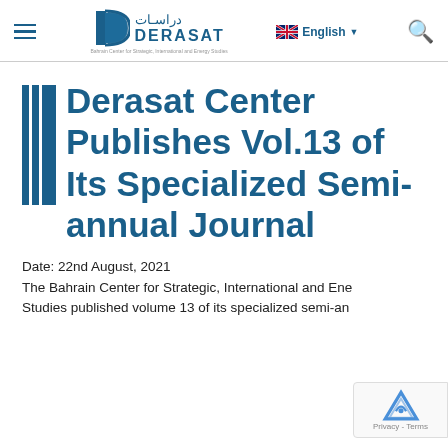DERASAT — Bahrain Center for Strategic, International and Energy Studies | English
Derasat Center Publishes Vol.13 of Its Specialized Semi-annual Journal
Date: 22nd August, 2021
The Bahrain Center for Strategic, International and Energy Studies published volume 13 of its specialized semi-annual